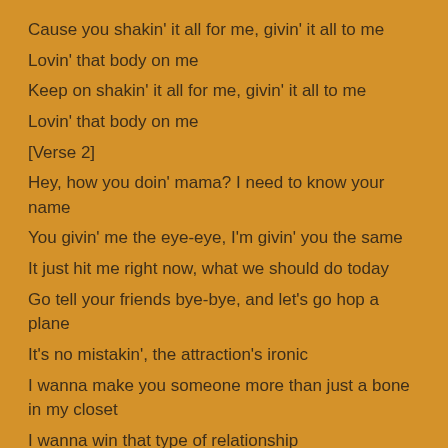Cause you shakin' it all for me, givin' it all to me
Lovin' that body on me
Keep on shakin' it all for me, givin' it all to me
Lovin' that body on me
[Verse 2]
Hey, how you doin' mama? I need to know your name
You givin' me the eye-eye, I'm givin' you the same
It just hit me right now, what we should do today
Go tell your friends bye-bye, and let's go hop a plane
It's no mistakin', the attraction's ironic
I wanna make you someone more than just a bone in my closet
I wanna win that type of relationship
Where you gon' wanna come hang when your man done tripped
You say you short this month, and you late on your rent